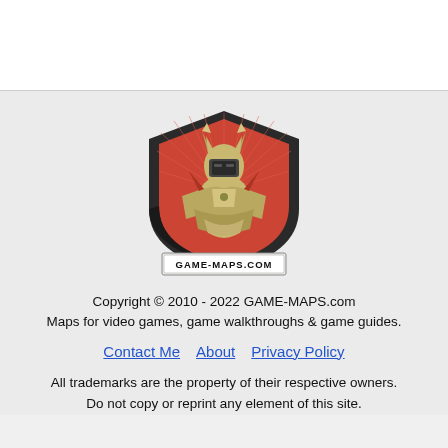[Figure (logo): GAME-MAPS.COM logo featuring an armored warrior in a shield emblem with red and dark background, with 'GAME-MAPS.COM' text banner below]
Copyright © 2010 - 2022 GAME-MAPS.com
Maps for video games, game walkthroughs & game guides.
Contact Me   About   Privacy Policy
All trademarks are the property of their respective owners.
Do not copy or reprint any element of this site.